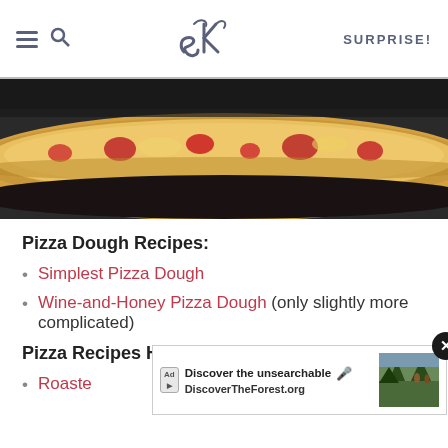SK | SURPRISE!
[Figure (photo): Close-up of a pizza with cheese and red toppings on a dark pan, blurred background]
Pizza Dough Recipes:
Simplest Pizza Dough
Wine-and-Honey Pizza Dough (only slightly more complicated)
Pizza Recipes Here:
Roaste...
[Figure (screenshot): Advertisement overlay: Discover the unsearchable / DiscoverTheForest.org with forest photo]